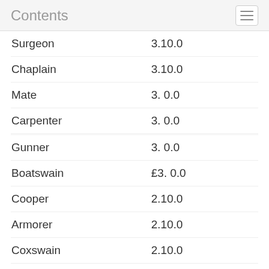Contents
| Role | Amount |
| --- | --- |
| Surgeon | 3.10.0 |
| Chaplain | 3.10.0 |
| Mate | 3. 0.0 |
| Carpenter | 3. 0.0 |
| Gunner | 3. 0.0 |
| Boatswain | £3. 0.0 |
| Cooper | 2.10.0 |
| Armorer | 2.10.0 |
| Coxswain | 2.10.0 |
| Boatswain's Mate | 2. 5.0 |
| Steward | 2. 5.0 |